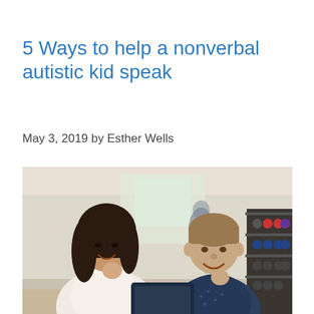5 Ways to help a nonverbal autistic kid speak
May 3, 2019 by Esther Wells
[Figure (photo): A smiling woman with long dark hair leans toward a boy with Down syndrome who is also smiling, both appear to be looking at something on a surface in front of them, in a bright indoor setting with colorful items on shelves in the background.]